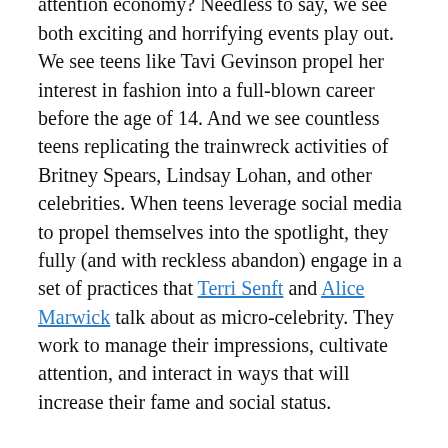attention gets access to the tools of the attention economy? Needless to say, we see both exciting and horrifying events play out. We see teens like Tavi Gevinson propel her interest in fashion into a full-blown career before the age of 14. And we see countless teens replicating the trainwreck activities of Britney Spears, Lindsay Lohan, and other celebrities. When teens leverage social media to propel themselves into the spotlight, they fully (and with reckless abandon) engage in a set of practices that Terri Senft and Alice Marwick talk about as micro-celebrity. They work to manage their impressions, cultivate attention, and interact in ways that will increase their fame and social status.
Like it or not, the culture that we live in is saturated with narratives of celebrity success and celebrity failure. It's downright hard to avoid Charlie Sheen's meltdown or Kate Middleton's wedding. With the rise of reality TV and the unfolding of major social media, individuals have felt closer than ever to the possibilities of celebrity. Celebrity becomes a